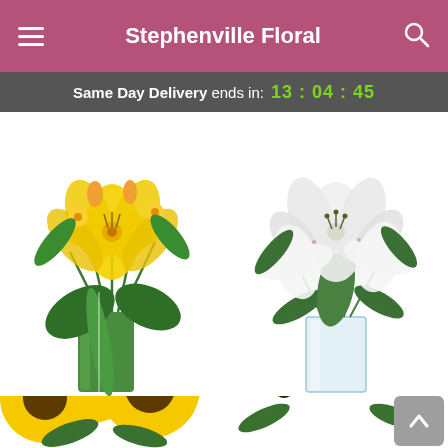Stephenville Floral
Same Day Delivery ends in: 13 : 04 : 45
[Figure (photo): Yellow lily and citrus flower arrangement in a green rectangular vase]
Sunshine and Citrus™
From $56.95
[Figure (photo): White lily arrangement in a clear glass square vase]
Peaceful Lilies
From $59.95
[Figure (photo): Yellow sunflower bouquet arrangement, partially visible at bottom]
[Figure (photo): Mixed orange and yellow flower arrangement, partially visible at bottom right]